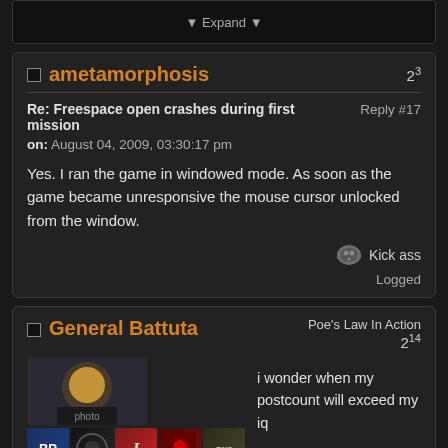[Figure (screenshot): Expand button at top of page]
ametamorphosis
2^3
Re: Freespace open crashes during first mission   Reply #17
on: August 04, 2009, 03:30:17 pm
Yes.  I ran the game in windowed mode.  As soon as the game became unresponsive the mouse cursor unlocked from the window.
Kick ass
Logged
General Battuta
Poe's Law In Action
2^14
i wonder when my postcount will exceed my iq